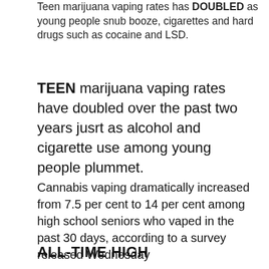Teen marijuana vaping rates has DOUBLED as young people snub booze, cigarettes and hard drugs such as cocaine and LSD.
TEEN marijuana vaping rates have doubled over the past two years jusrt as alcohol and cigarette use among young people plummet.
Cannabis vaping dramatically increased from 7.5 per cent to 14 per cent among high school seniors who vaped in the past 30 days, according to a survey released Wednesday
ALL-TIME HIGH